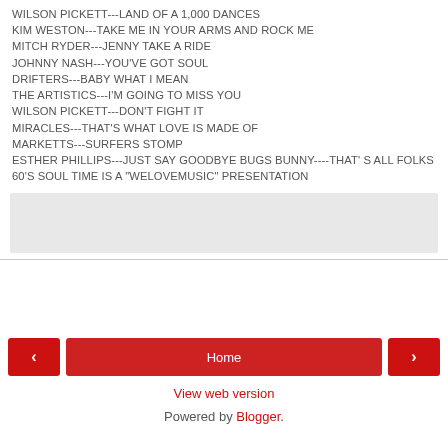WILSON PICKETT---LAND OF A 1,000 DANCES
KIM WESTON---TAKE ME IN YOUR ARMS AND ROCK ME
MITCH RYDER---JENNY TAKE A RIDE
JOHNNY NASH---YOU'VE GOT SOUL
DRIFTERS---BABY WHAT I MEAN
THE ARTISTICS---I'M GOING TO MISS YOU
WILSON PICKETT---DON'T FIGHT IT
MIRACLES---THAT'S WHAT LOVE IS MADE OF
MARKETTS---SURFERS STOMP
ESTHER PHILLIPS---JUST SAY GOODBYE BUGS BUNNY----THAT'S ALL FOLKS
60'S SOUL TIME IS A "WELOVEMUSIC" PRESENTATION
Home | View web version | Powered by Blogger.